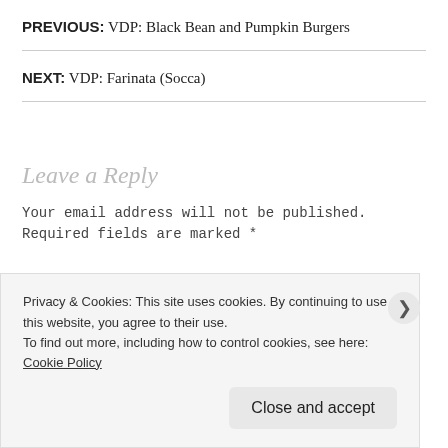PREVIOUS: VDP: Black Bean and Pumpkin Burgers
NEXT: VDP: Farinata (Socca)
Leave a Reply
Your email address will not be published. Required fields are marked *
Privacy & Cookies: This site uses cookies. By continuing to use this website, you agree to their use.
To find out more, including how to control cookies, see here: Cookie Policy
Close and accept